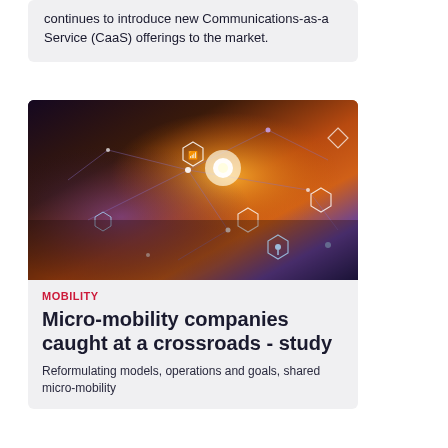continues to introduce new Communications-as-a Service (CaaS) offerings to the market.
[Figure (photo): Person using a tablet/laptop with holographic digital technology icons (wifi, location, connectivity) overlaid in a glowing network pattern with orange and purple light effects.]
MOBILITY
Micro-mobility companies caught at a crossroads - study
Reformulating models, operations and goals, shared micro-mobility